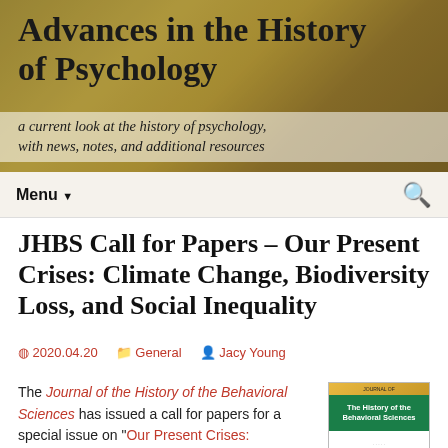Advances in the History of Psychology
a current look at the history of psychology, with news, notes, and additional resources
Menu
JHBS Call for Papers – Our Present Crises: Climate Change, Biodiversity Loss, and Social Inequality
2020.04.20   General   Jacy Young
The Journal of the History of the Behavioral Sciences has issued a call for papers for a special issue on "Our Present Crises: